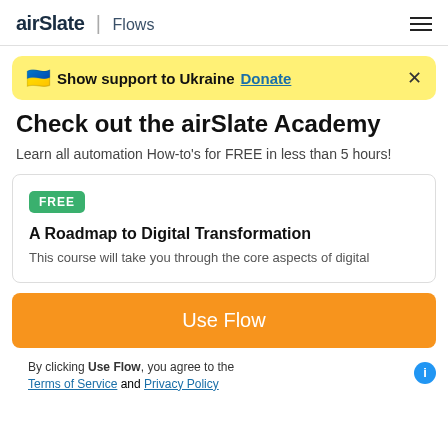airSlate | Flows
🇺🇦 Show support to Ukraine Donate ×
Check out the airSlate Academy
Learn all automation How-to's for FREE in less than 5 hours!
FREE
A Roadmap to Digital Transformation
This course will take you through the core aspects of digital
Use Flow
By clicking Use Flow, you agree to the Terms of Service and Privacy Policy